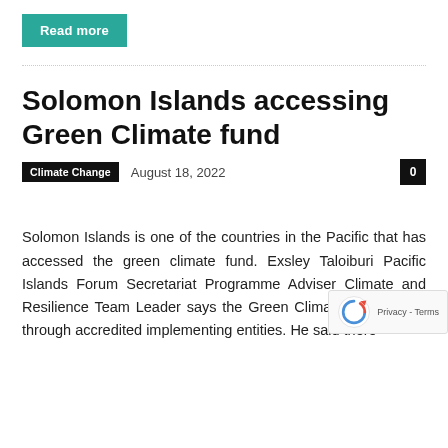Read more
Solomon Islands accessing Green Climate fund
Climate Change   August 18, 2022   0
Solomon Islands is one of the countries in the Pacific that has accessed the green climate fund. Exsley Taloiburi Pacific Islands Forum Secretariat Programme Adviser Climate and Resilience Team Leader says the Green Climate Fund works through accredited implementing entities. He said there